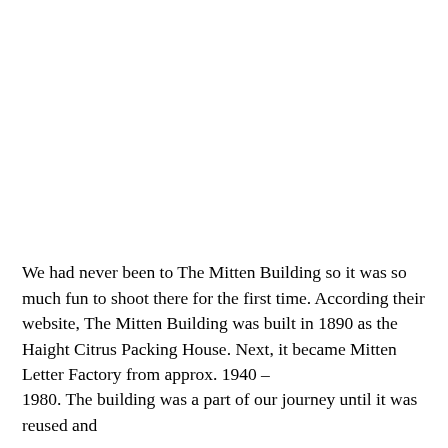We had never been to The Mitten Building so it was so much fun to shoot there for the first time. According their website, The Mitten Building was built in 1890 as the Haight Citrus Packing House. Next, it became Mitten Letter Factory from approx. 1940 – 1980. The building was a part of our journey until it was reused and